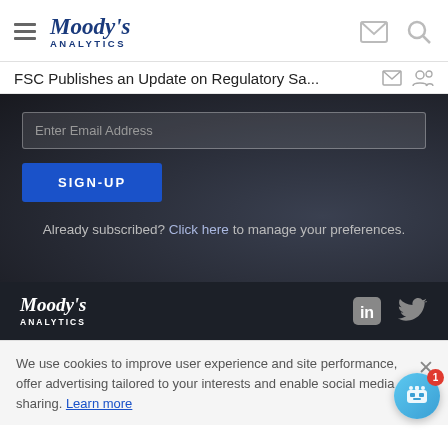Moody's Analytics
FSC Publishes an Update on Regulatory Sa...
Enter Email Address
SIGN-UP
Already subscribed? Click here to manage your preferences.
Moody's Analytics
We use cookies to improve user experience and site performance, offer advertising tailored to your interests and enable social media sharing. Learn more